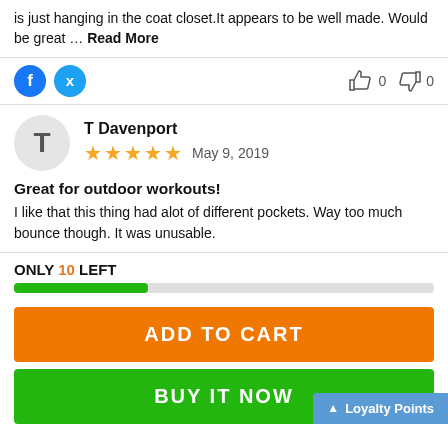is just hanging in the coat closet.It appears to be well made. Would be great … Read More
Social share icons and vote buttons: Facebook, Twitter, thumbs up 0, thumbs down 0
T Davenport — 5 stars — May 9, 2019
Great for outdoor workouts!
I like that this thing had alot of different pockets. Way too much bounce though. It was unusable.
ONLY 10 LEFT
ADD TO CART
BUY IT NOW
Loyalty Points